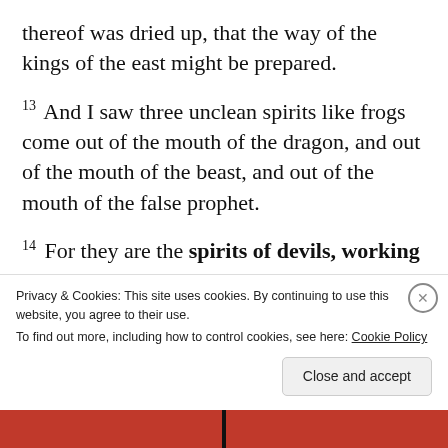thereof was dried up, that the way of the kings of the east might be prepared.
13 And I saw three unclean spirits like frogs come out of the mouth of the dragon, and out of the mouth of the beast, and out of the mouth of the false prophet.
14 For they are the spirits of devils, working miracles, which go forth unto the kings of the earth and of the whole world, to gather them to the battle of that great day of God
Privacy & Cookies: This site uses cookies. By continuing to use this website, you agree to their use. To find out more, including how to control cookies, see here: Cookie Policy
Close and accept